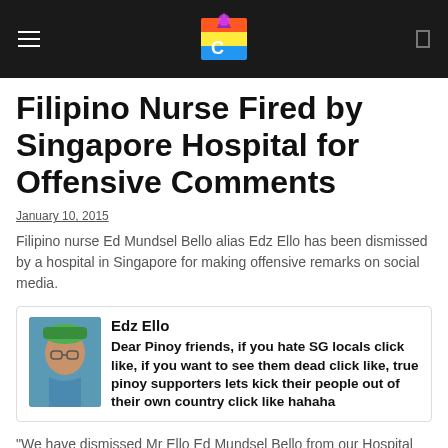[Logo / navigation header]
Filipino Nurse Fired by Singapore Hospital for Offensive Comments
January 10, 2015
Filipino nurse Ed Mundsel Bello alias Edz Ello has been dismissed by a hospital in Singapore for making offensive remarks on social media.
[Figure (screenshot): Social media post by Edz Ello: 'Dear Pinoy friends, if you hate SG locals click like, if you want to see them dead click like, true pinoy supporters lets kick their people out of their own country click like hahaha']
"We have dismissed Mr Ello Ed Mundsel Bello from our Hospital immediately for his offensive online comments